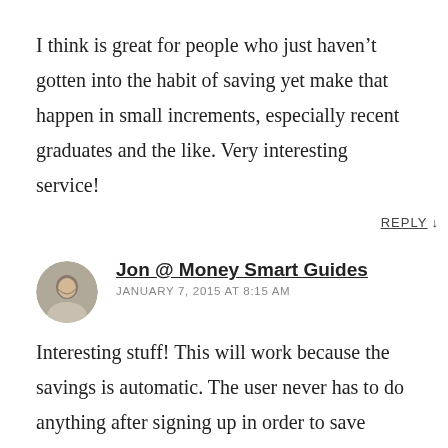I think is great for people who just haven't gotten into the habit of saving yet make that happen in small increments, especially recent graduates and the like. Very interesting service!
REPLY ↓
Jon @ Money Smart Guides
JANUARY 7, 2015 AT 8:15 AM
Interesting stuff! This will work because the savings is automatic. The user never has to do anything after signing up in order to save money. That is why I like Betterment for investing so much. Just sign up and boom, you are done. They take care of the rest for you.